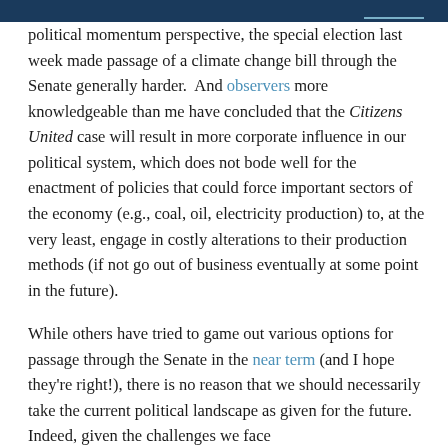political momentum perspective, the special election last week made passage of a climate change bill through the Senate generally harder.  And observers more knowledgeable than me have concluded that the Citizens United case will result in more corporate influence in our political system, which does not bode well for the enactment of policies that could force important sectors of the economy (e.g., coal, oil, electricity production) to, at the very least, engage in costly alterations to their production methods (if not go out of business eventually at some point in the future).
While others have tried to game out various options for passage through the Senate in the near term (and I hope they're right!), there is no reason that we should necessarily take the current political landscape as given for the future.  Indeed, given the challenges we face